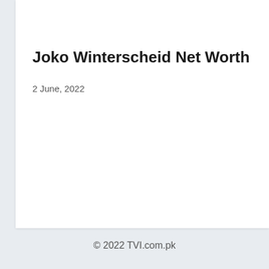Joko Winterscheid Net Worth in 2022 Ca
2 June, 2022
© 2022 TVI.com.pk